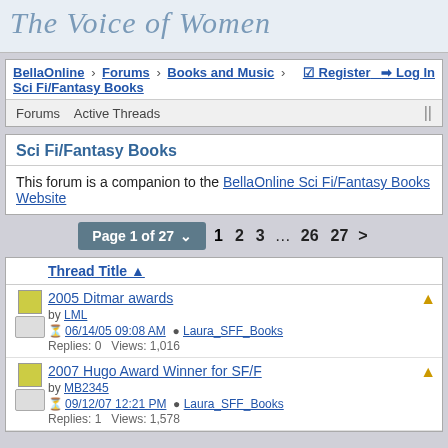The Voice of Women
BellaOnline > Forums > Books and Music > Sci Fi/Fantasy Books
Forums   Active Threads
Sci Fi/Fantasy Books
This forum is a companion to the BellaOnline Sci Fi/Fantasy Books Website
Page 1 of 27   1  2  3  ...  26  27  >
|  | Thread Title |
| --- | --- |
| [icon] | 2005 Ditmar awards
by LML
06/14/05 09:08 AM   Laura_SFF_Books
Replies: 0   Views: 1,016 |
| [icon] | 2007 Hugo Award Winner for SF/F
by MB2345
09/12/07 12:21 PM   Laura_SFF_Books
Replies: 1   Views: 1,578 |